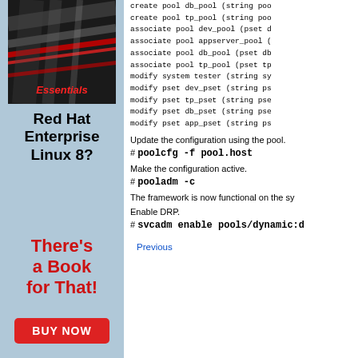[Figure (illustration): Book cover for Red Hat Enterprise Linux 8 Essentials with red and silver streaks on dark background]
Red Hat Enterprise Linux 8?
There's a Book for That!
BUY NOW
create pool db_pool (string poo
create pool tp_pool (string poo
associate pool dev_pool (pset d
associate pool appserver_pool (
associate pool db_pool (pset db
associate pool tp_pool (pset tp
modify system tester (string sy
modify pset dev_pset (string ps
modify pset tp_pset (string pse
modify pset db_pset (string pse
modify pset app_pset (string ps
Update the configuration using the pool.
# poolcfg -f pool.host
Make the configuration active.
# pooladm -c
The framework is now functional on the sy
Enable DRP.
# svcadm enable pools/dynamic:d
Previous